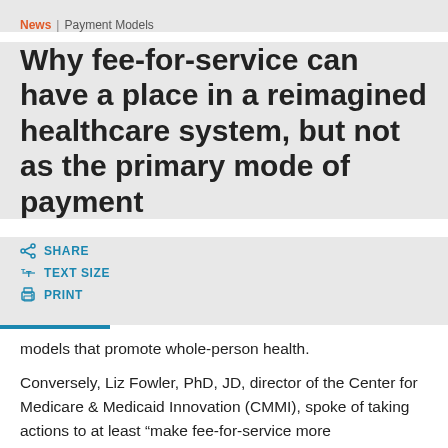News | Payment Models
Why fee-for-service can have a place in a reimagined healthcare system, but not as the primary mode of payment
SHARE
TEXT SIZE
PRINT
models that promote whole-person health.
Conversely, Liz Fowler, PhD, JD, director of the Center for Medicare & Medicaid Innovation (CMMI), spoke of taking actions to at least “make fee-for-service more uncomfortable.”
To that end, CMMI is looking at ways to implement a array of mandatory alternative payment models. In Fowler’s